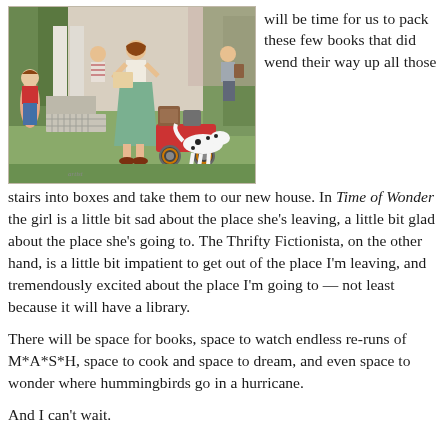[Figure (illustration): Vintage illustration of a family moving, with a woman in a green skirt loading luggage onto a red cart, a dalmatian dog, children, and trees in the background.]
will be time for us to pack these few books that did wend their way up all those stairs into boxes and take them to our new house. In Time of Wonder the girl is a little bit sad about the place she's leaving, a little bit glad about the place she's going to. The Thrifty Fictionista, on the other hand, is a little bit impatient to get out of the place I'm leaving, and tremendously excited about the place I'm going to — not least because it will have a library.
There will be space for books, space to watch endless re-runs of M*A*S*H, space to cook and space to dream, and even space to wonder where hummingbirds go in a hurricane.
And I can't wait.